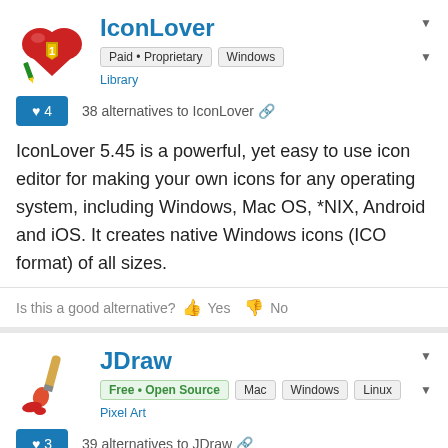IconLover
Paid • Proprietary   Windows   Library
38 alternatives to IconLover
IconLover 5.45 is a powerful, yet easy to use icon editor for making your own icons for any operating system, including Windows, Mac OS, *NIX, Android and iOS. It creates native Windows icons (ICO format) of all sizes.
Is this a good alternative? Yes No
JDraw
Free • Open Source   Mac   Windows   Linux   Pixel Art
39 alternatives to JDraw
JDraw is a pixel oriented graphics editor designed especially